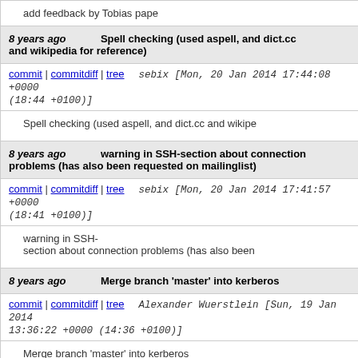add feedback by Tobias pape
8 years ago    Spell checking (used aspell, and dict.cc and wikipedia for reference)
commit | commitdiff | tree    sebix [Mon, 20 Jan 2014 17:44:08 +0000 (18:44 +0100)]
Spell checking (used aspell, and dict.cc and wikipe
8 years ago    warning in SSH-section about connection problems (has also been requested on mailinglist)
commit | commitdiff | tree    sebix [Mon, 20 Jan 2014 17:41:57 +0000 (18:41 +0100)]
warning in SSH-
section about connection problems (has also been
8 years ago    Merge branch 'master' into kerberos
commit | commitdiff | tree    Alexander Wuerstlein [Sun, 19 Jan 2014 13:36:22 +0000 (14:36 +0100)]
Merge branch 'master' into kerberos

Conflicts: